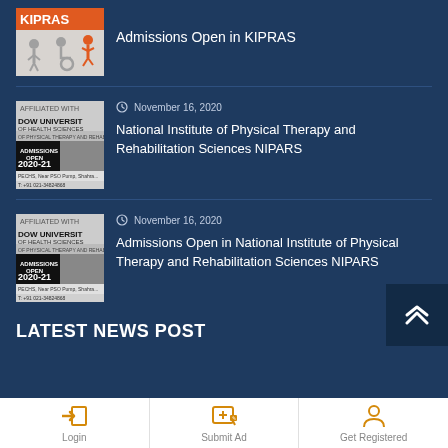[Figure (illustration): KIPRAS logo/thumbnail with orange and white icons of people including wheelchair user]
Admissions Open in KIPRAS
[Figure (illustration): DOW University of Health Sciences affiliated institution thumbnail showing admissions open 2020-21]
November 16, 2020
National Institute of Physical Therapy and Rehabilitation Sciences NIPARS
[Figure (illustration): DOW University of Health Sciences affiliated institution thumbnail showing admissions open 2020-21]
November 16, 2020
Admissions Open in National Institute of Physical Therapy and Rehabilitation Sciences NIPARS
LATEST NEWS POST
Login
Submit Ad
Get Registered